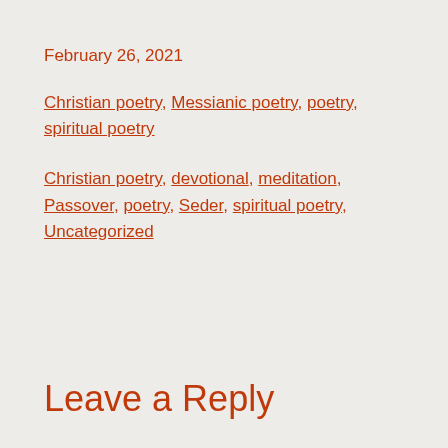February 26, 2021
Christian poetry, Messianic poetry, poetry, spiritual poetry
Christian poetry, devotional, meditation, Passover, poetry, Seder, spiritual poetry, Uncategorized
Leave a Reply